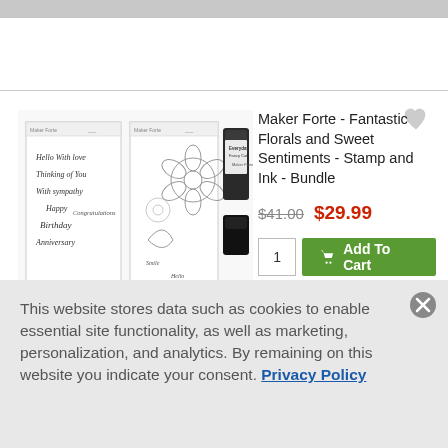[Figure (photo): Product photo showing two stamp sets and an ink pad bundle from Maker Forte - Fantastic Florals and Sweet Sentiments]
Maker Forte - Fantastic Florals and Sweet Sentiments - Stamp and Ink - Bundle
$41.00  $29.99
1  Add To Cart
This website stores data such as cookies to enable essential site functionality, as well as marketing, personalization, and analytics. By remaining on this website you indicate your consent. Privacy Policy